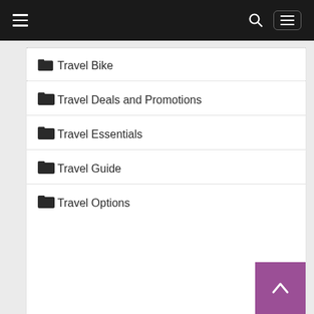Navigation bar with hamburger menu, search icon, and menu button
Travel Bike
Travel Deals and Promotions
Travel Essentials
Travel Guide
Travel Options